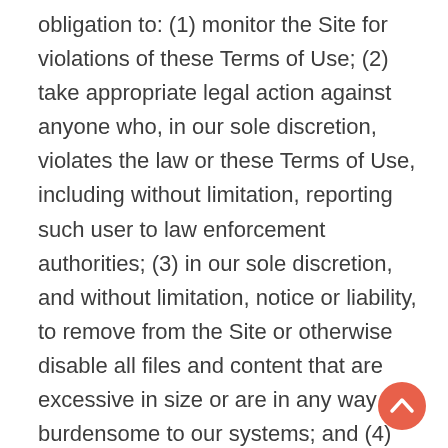obligation to: (1) monitor the Site for violations of these Terms of Use; (2) take appropriate legal action against anyone who, in our sole discretion, violates the law or these Terms of Use, including without limitation, reporting such user to law enforcement authorities; (3) in our sole discretion, and without limitation, notice or liability, to remove from the Site or otherwise disable all files and content that are excessive in size or are in any way burdensome to our systems; and (4) otherwise manage the Site in a manner designed to protect our rights and property, and to facilitate the proper functioning of the Site and the Services.